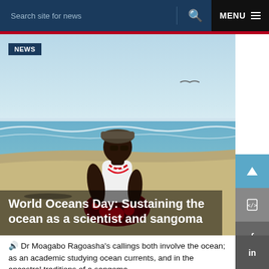Search site for news  🔍  MENU ≡
[Figure (photo): Woman in traditional African attire with red and white beaded necklace sitting on a beach, looking out at the ocean with waves in the background and a clear sky. A NEWS badge overlays the top left. Title text overlays the bottom: 'World Oceans Day: Sustaining the ocean as a scientist and sangoma']
World Oceans Day: Sustaining the ocean as a scientist and sangoma
🔊 Dr Moagabo Ragoasha's callings both involve the ocean; as an academic studying ocean currents, and in the ancestral traditions of a sangoma.